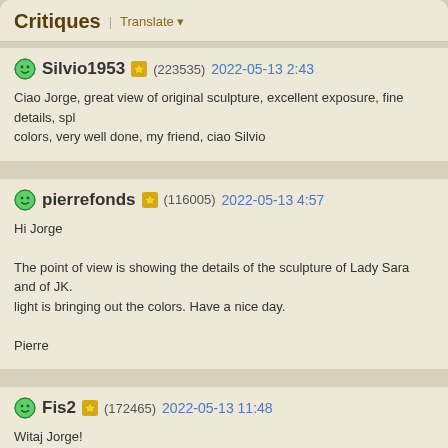Critiques | Translate
Silvio1953 (223535) 2022-05-13 2:43
Ciao Jorge, great view of original sculpture, excellent exposure, fine details, spl colors, very well done, my friend, ciao Silvio
pierrefonds (116005) 2022-05-13 4:57
Hi Jorge

The point of view is showing the details of the sculpture of Lady Sara and of JK. light is bringing out the colors. Have a nice day.

Pierre
Fis2 (172465) 2022-05-13 11:48
Witaj Jorge!
A very nice place, this monument makes impression.
I like framing, colors and curious light.
Photo has atmosphere.